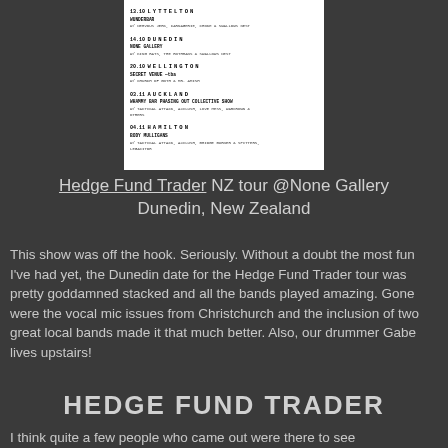[Figure (other): A white flyer/poster listing tour dates for Hedge Fund Trader NZ tour, showing venues and support acts for Lyttelton, Dunedin, Wellington, Auckland, and Hamilton.]
Hedge Fund Trader NZ tour @None Gallery Dunedin, New Zealand
This show was off the hook. Seriously. Without a doubt the most fun I've had yet, the Dunedin date for the Hedge Fund Trader tour was pretty goddamned stacked and all the bands played amazing. Gone were the vocal mic issues from Christchurch and the inclusion of two great local bands made it that much better. Also, our drummer Gabe lives upstairs!
HEDGE FUND TRADER
I think quite a few people who came out were there to see